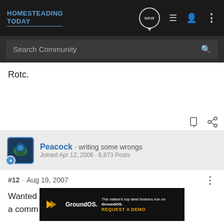HOMESTEADING TODAY
Rotc.
Peacock · writing some wrongs
Joined Apr 12, 2006 · 6,873 Posts
#12 · Aug 19, 2007
Wanted to ... ree at a comm... ooks &